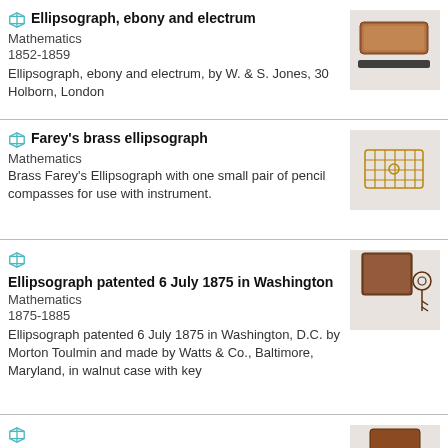Ellipsograph, ebony and electrum
Mathematics
1852-1859
Ellipsograph, ebony and electrum, by W. & S. Jones, 30 Holborn, London
Farey's brass ellipsograph
Mathematics
Brass Farey's Ellipsograph with one small pair of pencil compasses for use with instrument.
Ellipsograph patented 6 July 1875 in Washington
Mathematics
1875-1885
Ellipsograph patented 6 July 1875 in Washington, D.C. by Morton Toulmin and made by Watts & Co., Baltimore, Maryland, in walnut case with key
Clement's Ellipsograph with accessories including key